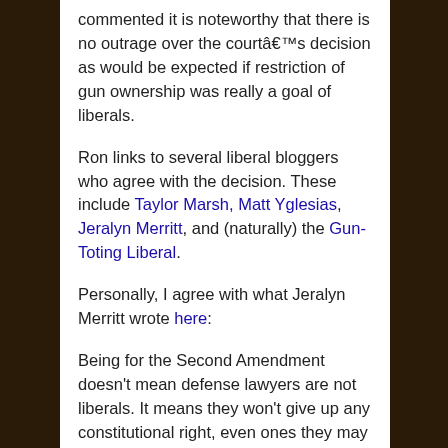commented it is noteworthy that there is no outrage over the courtâ€™s decision as would be expected if restriction of gun ownership was really a goal of liberals.
Ron links to several liberal bloggers who agree with the decision. These include Taylor Marsh, Matt Yglesias, Jeralyn Merritt, and (naturally) the Gun-Toting Liberal.
Personally, I agree with what Jeralyn Merritt wrote here:
Being for the Second Amendment doesn’t mean defense lawyers are not liberals. It means they won’t give up any constitutional right, even ones they may not exercise personally. Since lawyers are about civil rights...